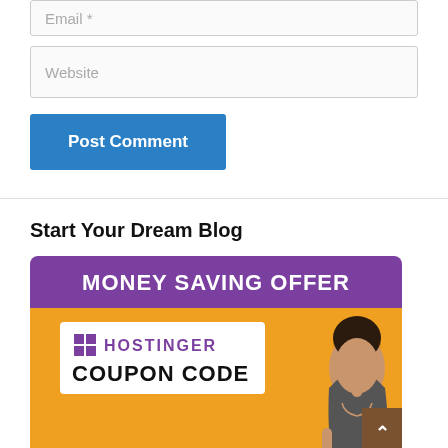Email *
Website
Post Comment
Start Your Dream Blog
[Figure (infographic): Hostinger Money Saving Offer promotional banner with purple header reading MONEY SAVING OFFER, orange background with a woman holding a sign showing Hostinger logo and text COUPON CODE]